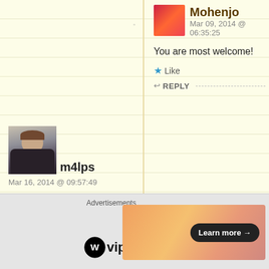Mohenjo
Mar 09, 2014 @ 06:35:25
You are most welcome!
★ Like
↩ REPLY
m4lps
Mar 16, 2014 @ 09:57:49
Great blog. Thanks for visiting mine. Greetings from San Die
★ Liked by 1 person
↩ REPLY
Mohenjo
Advertisements
[Figure (logo): WordPress VIP logo with WP circle icon and 'vip' text]
[Figure (infographic): Advertisement banner with orange/peach gradient and 'Learn more →' button]